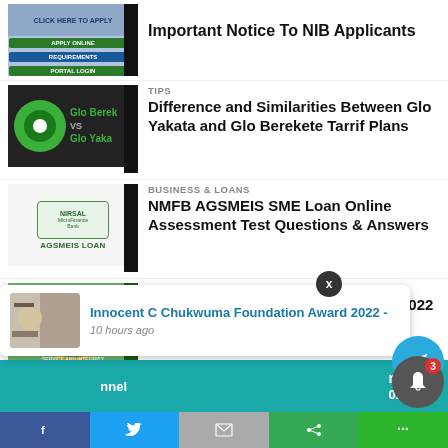Important Notice To NIB Applicants
TIPS
Difference and Similarities Between Glo Yakata and Glo Berekete Tarrif Plans
BUSINESS & LOANS
NMFB AGSMEIS SME Loan Online Assessment Test Questions & Answers
NEWS
JAMB Announces Official Date For 2022 UTME Registration
Innocent C Chukwuma Foundation Award 2022 -
10 hours ago
or Today
022